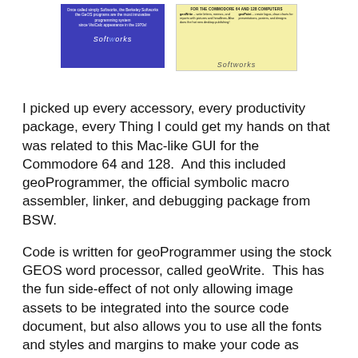[Figure (illustration): Two software box images side by side. Left box has a blue background with white text and Softworks logo. Right box has a yellow/cream background with black text and Softworks logo.]
I picked up every accessory, every productivity package, every Thing I could get my hands on that was related to this Mac-like GUI for the Commodore 64 and 128.  And this included geoProgrammer, the official symbolic macro assembler, linker, and debugging package from BSW.
Code is written for geoProgrammer using the stock GEOS word processor, called geoWrite.  This has the fun side-effect of not only allowing image assets to be integrated into the source code document, but also allows you to use all the fonts and styles and margins to make your code as beautiful as possible.
So armed, I spent the 90s and early 2000s writing numerous applications for GEOS.  You can find information about most of them on my geoProjects page.  However, my geoCoding